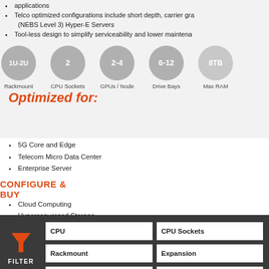applications
Telco optimized configurations include short depth, carrier grade (NEBS Level 3) Hyper-E Servers
Tool-less design to simplify serviceability and lower maintenance
[Figure (infographic): Five gray circles showing specs: 1U-2U (Rackmount), 2 (CPU Sockets), 2-4 (GPUs / Node), 6-12 (Drive Bays), 8TB (Max RAM)]
Optimized for:
5G Core and Edge
Telecom Micro Data Center
Enterprise Server
Cloud Computing
Hyperconverged Storage
CONFIGURE & BUY
[Figure (infographic): Dark gray filter panel with grid buttons: CPU, CPU Sockets, Rackmount, Expansion, Drives, Feature, and partial row at bottom. Filter funnel icon with FILTER label on left side.]